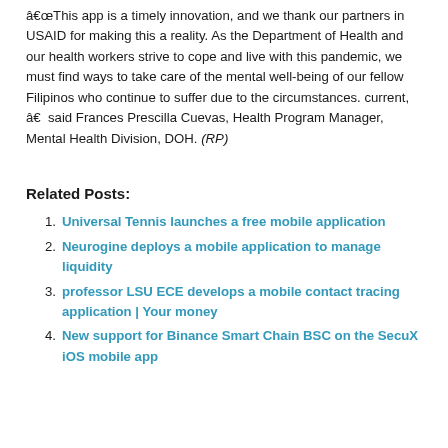“This app is a timely innovation, and we thank our partners in USAID for making this a reality. As the Department of Health and our health workers strive to cope and live with this pandemic, we must find ways to take care of the mental well-being of our fellow Filipinos who continue to suffer due to the circumstances. current, â€’ said Frances Prescilla Cuevas, Health Program Manager, Mental Health Division, DOH. (RP)
Related Posts:
Universal Tennis launches a free mobile application
Neurogine deploys a mobile application to manage liquidity
professor LSU ECE develops a mobile contact tracing application | Your money
New support for Binance Smart Chain BSC on the SecuX iOS mobile app